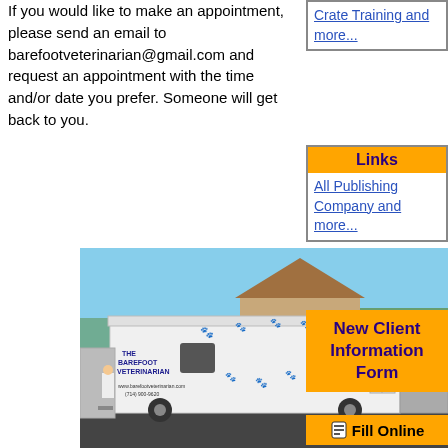If you would like to make an appointment, please send an email to barefootveterinarian@gmail.com and request an appointment with the time and/or date you prefer. Someone will get back to you.
Crate Training and more...
Links
All Publishing Company and more...
Email
[Figure (photo): The Barefoot Veterinarian mobile clinic truck/trailer parked outside a house. White trailer with paw print decorations and text reading 'THE BAREFOOT VETERINARIAN' with website www.barefootveterinarian.com and phone (714) 900-9620.]
New Client Information Form
Fill Online